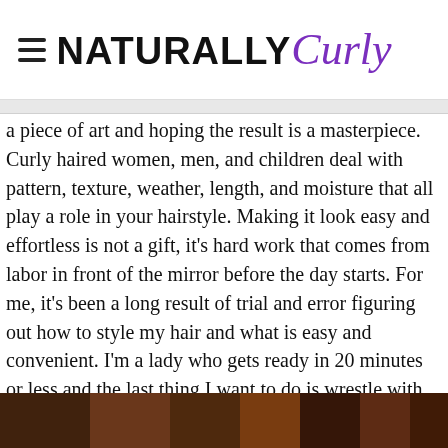NATURALLY Curly
a piece of art and hoping the result is a masterpiece. Curly haired women, men, and children deal with pattern, texture, weather, length, and moisture that all play a role in your hairstyle. Making it look easy and effortless is not a gift, it's hard work that comes from labor in front of the mirror before the day starts. For me, it's been a long result of trial and error figuring out how to style my hair and what is easy and convenient. I'm a lady who gets ready in 20 minutes or less and the last thing I want to do is wrestle with my hair. Here a few of my one-step hairstyles that get me out the door with a smile on my face.
[Figure (photo): Photo strip showing curly hair close-ups]